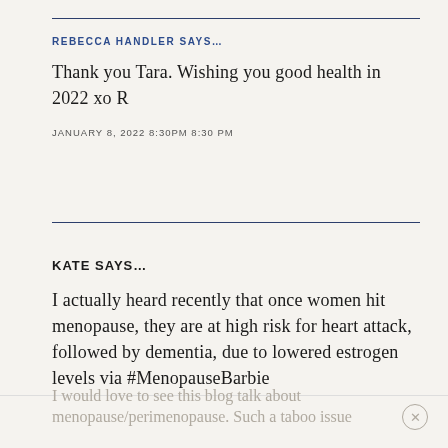REBECCA HANDLER SAYS...
Thank you Tara. Wishing you good health in 2022 xo R
JANUARY 8, 2022 8:30PM 8:30 PM
KATE SAYS...
I actually heard recently that once women hit menopause, they are at high risk for heart attack, followed by dementia, due to lowered estrogen levels via #MenopauseBarbie
I would love to see this blog talk about menopause/perimenopause. Such a taboo issue